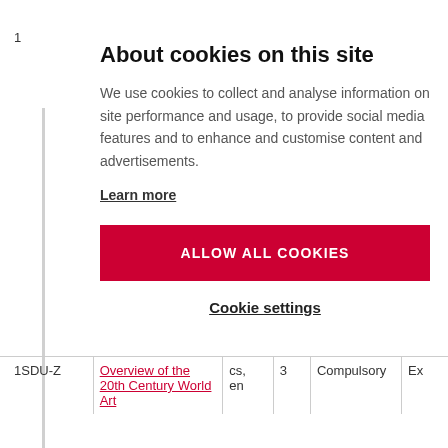1
About cookies on this site
We use cookies to collect and analyse information on site performance and usage, to provide social media features and to enhance and customise content and advertisements.
Learn more
[Figure (other): Red button with text ALLOW ALL COOKIES]
Cookie settings
|  | Overview of the 20th Century World Art | cs, en | 3 | Compulsory | Ex |
| --- | --- | --- | --- | --- | --- |
| 1SDU-Z | Overview of the 20th Century World Art | cs, en | 3 | Compulsory | Ex |